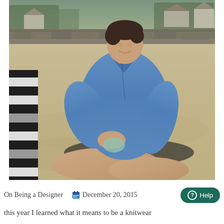[Figure (photo): A woman wearing a blue denim shirt-dress sits on a sandy beach, knitting. She has short dark hair and is smiling. Behind her is a rocky wall, sandy beach, and coastal houses. A striped bag or blanket is visible on the left edge.]
On Being a Designer   December 20, 2015
this year I learned what it means to be a knitwear